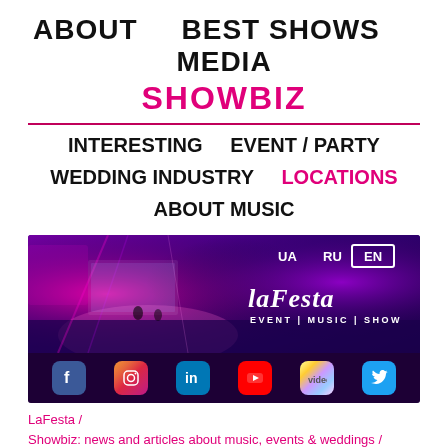ABOUT   BEST SHOWS   MEDIA
SHOWBIZ
INTERESTING    EVENT / PARTY
WEDDING INDUSTRY    LOCATIONS
ABOUT MUSIC
[Figure (screenshot): LaFesta website banner showing a concert event with purple/pink stage lighting, social media icons (Facebook, Instagram, LinkedIn, YouTube, Vimeo, Twitter), language selector (UA, RU, EN), and the LaFesta logo with tagline EVENT | MUSIC | SHOW]
LaFesta /
Showbiz: news and articles about music, events & weddings /
The best and original locations for events and weddings: countries,